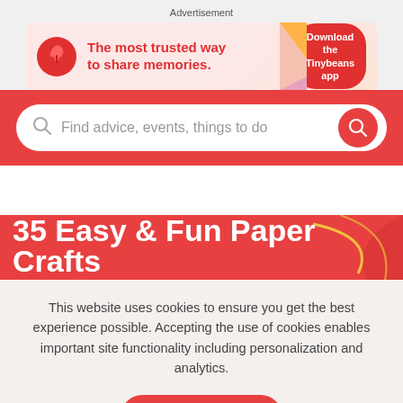Advertisement
[Figure (illustration): Tinybeans app advertisement banner with logo, text 'The most trusted way to share memories.' and 'Download the Tinybeans app' button]
Find advice, events, things to do
35 Easy & Fun Paper Crafts
This website uses cookies to ensure you get the best experience possible. Accepting the use of cookies enables important site functionality including personalization and analytics.
Accept
Decline